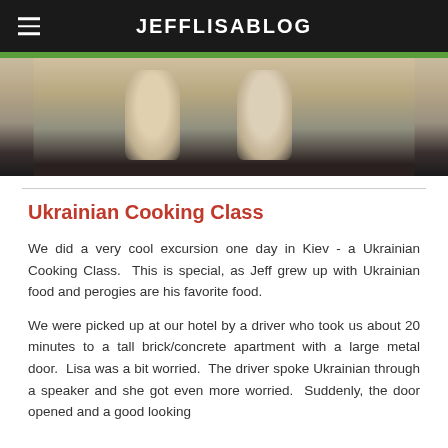JEFFLISABLOG
[Figure (photo): Sepia-toned photo of two people in light-colored clothing, partially visible from chest up, dark background at bottom]
Ukrainian Cooking Class
We did a very cool excursion one day in Kiev - a Ukrainian Cooking Class.  This is special, as Jeff grew up with Ukrainian food and perogies are his favorite food.
We were picked up at our hotel by a driver who took us about 20 minutes to a tall brick/concrete apartment with a large metal door.  Lisa was a bit worried.  The driver spoke Ukrainian through a speaker and she got even more worried.  Suddenly, the door opened and a good looking